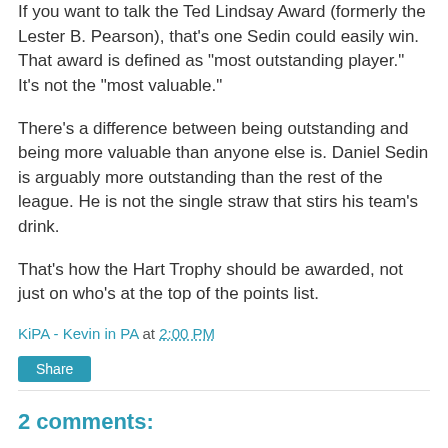If you want to talk the Ted Lindsay Award (formerly the Lester B. Pearson), that's one Sedin could easily win. That award is defined as "most outstanding player." It's not the "most valuable."
There's a difference between being outstanding and being more valuable than anyone else is. Daniel Sedin is arguably more outstanding than the rest of the league. He is not the single straw that stirs his team's drink.
That's how the Hart Trophy should be awarded, not just on who's at the top of the points list.
KiPA - Kevin in PA at 2:00 PM
Share
2 comments:
tCL of OTP  April 8, 2011 at 10:10 AM
Good read, KiPA. As a Canucks fan, I've wondered why the Hart Trophy doesn't quite hit me the same as the Art Ross ("It...